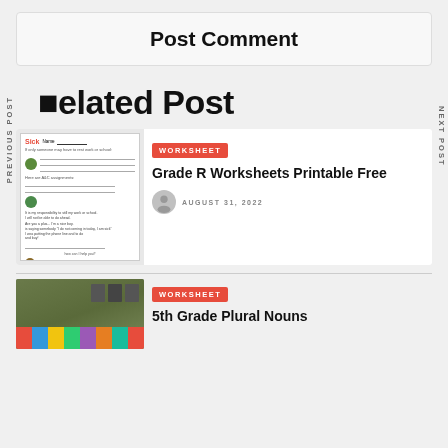Post Comment
Related Post
PREVIOUS POST
NEXT POST
[Figure (photo): Worksheet preview thumbnail showing a sick note worksheet]
WORKSHEET
Grade R Worksheets Printable Free
AUGUST 31, 2022
[Figure (photo): Classroom photo with colorful numbered floor tiles]
WORKSHEET
5th Grade Plural Nouns